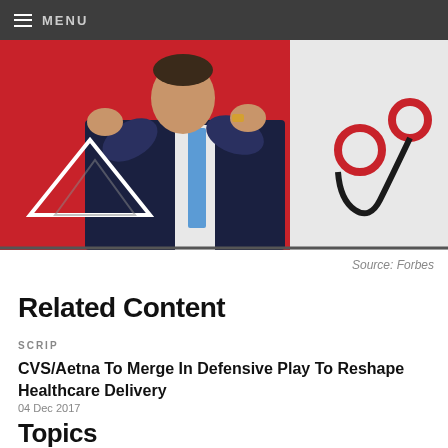MENU
[Figure (photo): A man in a dark suit with a blue tie clapping or gesturing with hands, in front of a red background with a stethoscope visible on the right side]
Source: Forbes
Related Content
SCRIP
CVS/Aetna To Merge In Defensive Play To Reshape Healthcare Delivery
04 Dec 2017
Topics
SUBJECTS